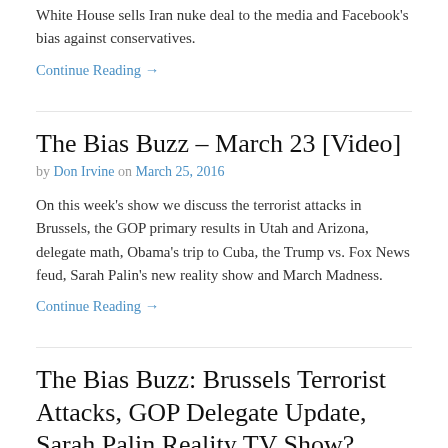White House sells Iran nuke deal to the media and Facebook's bias against conservatives.
Continue Reading →
The Bias Buzz – March 23 [Video]
by Don Irvine on March 25, 2016
On this week's show we discuss the terrorist attacks in Brussels, the GOP primary results in Utah and Arizona, delegate math, Obama's trip to Cuba, the Trump vs. Fox News feud, Sarah Palin's new reality show and March Madness.
Continue Reading →
The Bias Buzz: Brussels Terrorist Attacks, GOP Delegate Update, Sarah Palin Reality TV Show?
by Spencer Irvine on March 22, 2016
On this week's show we discuss the terrorist attacks in Brussels, the GOP primary results in Utah and Arizona, delegate math, Obama's trip to Cuba, the Trump vs. Fox News feud, Sarah Palin's new reality show and March Madness.